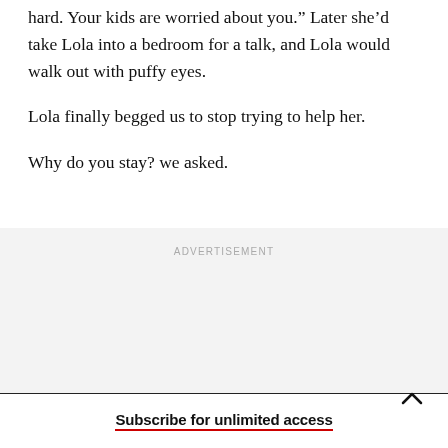hard. Your kids are worried about you.” Later she’d take Lola into a bedroom for a talk, and Lola would walk out with puffy eyes.
Lola finally begged us to stop trying to help her.
Why do you stay? we asked.
ADVERTISEMENT
Subscribe for unlimited access